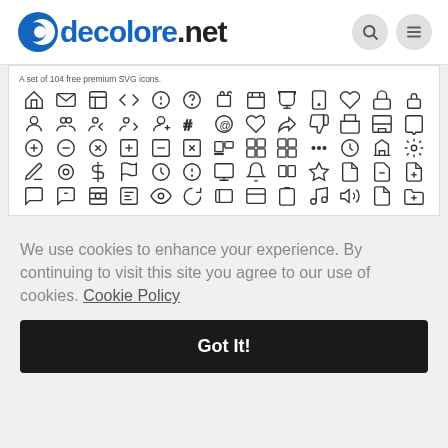decolore.net
[Figure (screenshot): A set of 104 free premium SVG icons displayed in a grid of outline-style symbols.]
We use cookies to enhance your experience. By continuing to visit this site you agree to our use of cookies. Cookie Policy
Got It!